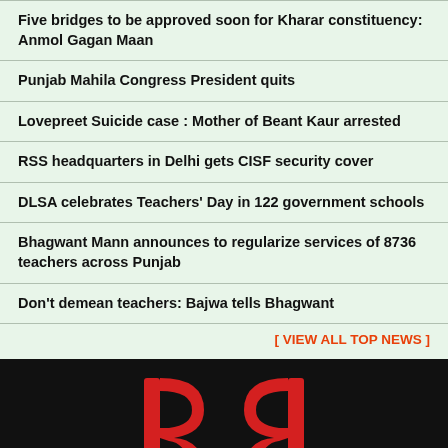Five bridges to be approved soon for Kharar constituency: Anmol Gagan Maan
Punjab Mahila Congress President quits
Lovepreet Suicide case : Mother of Beant Kaur arrested
RSS headquarters in Delhi gets CISF security cover
DLSA celebrates Teachers' Day in 122 government schools
Bhagwant Mann announces to regularize services of 8736 teachers across Punjab
Don't demean teachers: Bajwa tells Bhagwant
[ VIEW ALL TOP NEWS ]
[Figure (logo): Logo with two mirrored R letters in red on a black background]